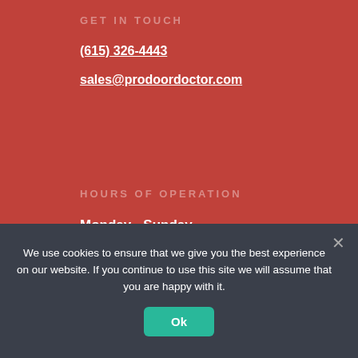GET IN TOUCH
(615) 326-4443
sales@prodoordoctor.com
HOURS OF OPERATION
Monday - Sunday
7am - 6pm
VISIT US
81 Oak Valley Drive, Unit 2
Spring Hill, TN 37174
We use cookies to ensure that we give you the best experience on our website. If you continue to use this site we will assume that you are happy with it.